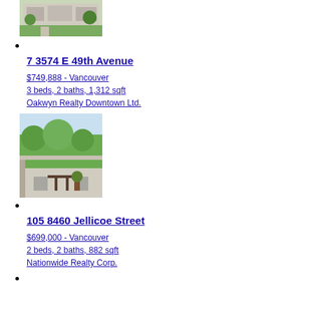[Figure (photo): Exterior photo of townhouse/apartment building with green lawn, partially visible at top of page]
7 3574 E 49th Avenue
$749,888 - Vancouver
3 beds, 2 baths, 1,312 sqft
Oakwyn Realty Downtown Ltd.
[Figure (photo): Photo of a balcony/patio with outdoor furniture and trees in background]
105 8460 Jellicoe Street
$699,000 - Vancouver
2 beds, 2 baths, 882 sqft
Nationwide Realty Corp.